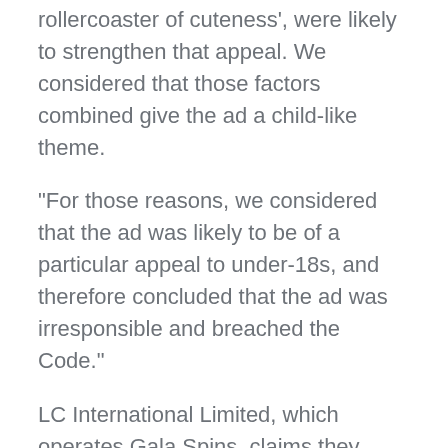rollercoaster of cuteness', were likely to strengthen that appeal. We considered that those factors combined give the ad a child-like theme.
“For those reasons, we considered that the ad was likely to be of a particular appeal to under-18s, and therefore concluded that the ad was irresponsible and breached the Code.”
LC International Limited, which operates Gala Spins, claims they posted the eight-second video advertisement in “error” and that it